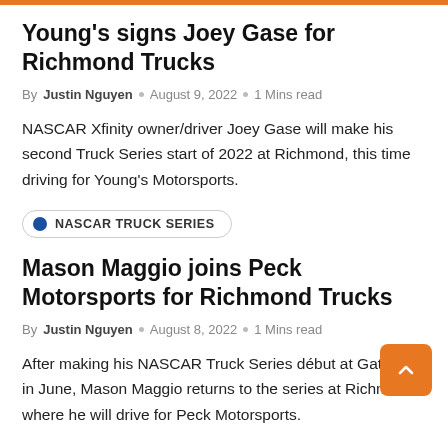Young's signs Joey Gase for Richmond Trucks
By Justin Nguyen  o  August 9, 2022  o  1 Mins read
NASCAR Xfinity owner/driver Joey Gase will make his second Truck Series start of 2022 at Richmond, this time driving for Young's Motorsports.
NASCAR TRUCK SERIES
Mason Maggio joins Peck Motorsports for Richmond Trucks
By Justin Nguyen  o  August 8, 2022  o  1 Mins read
After making his NASCAR Truck Series début at Gateway in June, Mason Maggio returns to the series at Richmond where he will drive for Peck Motorsports.